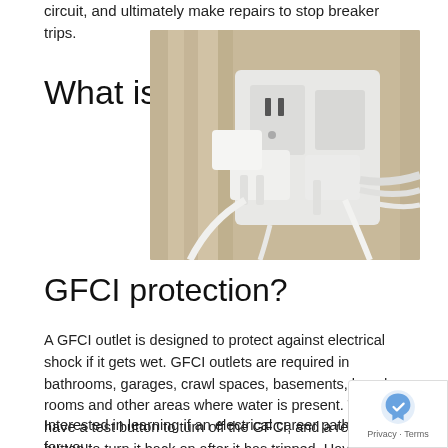circuit, and ultimately make repairs to stop breaker trips.
What is
[Figure (photo): Photo of multiple white electrical plugs and cords overcrowding a wall outlet/power strip, mounted on a wooden wall panel.]
GFCI protection?
A GFCI outlet is designed to protect against electrical shock if it gets wet. GFCI outlets are required in bathrooms, garages, crawl spaces, basements, laundry rooms and other areas where water is present. They have a test button to turn off the GFCI, and a reset button to turn it back on after it has tripped. Having trouble getting a GFCI outlet to turn back on? Ca... electrician who will be able to diagnose and fix the issue.
Interested in learning if an electrical career path is right for you: